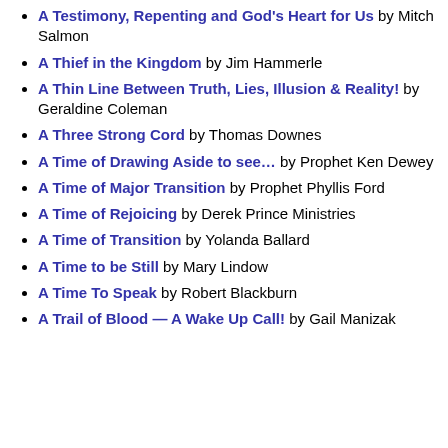A Testimony, Repenting and God's Heart for Us by Mitch Salmon
A Thief in the Kingdom by Jim Hammerle
A Thin Line Between Truth, Lies, Illusion & Reality! by Geraldine Coleman
A Three Strong Cord by Thomas Downes
A Time of Drawing Aside to see… by Prophet Ken Dewey
A Time of Major Transition by Prophet Phyllis Ford
A Time of Rejoicing by Derek Prince Ministries
A Time of Transition by Yolanda Ballard
A Time to be Still by Mary Lindow
A Time To Speak by Robert Blackburn
A Trail of Blood — A Wake Up Call! by Gail Manizak